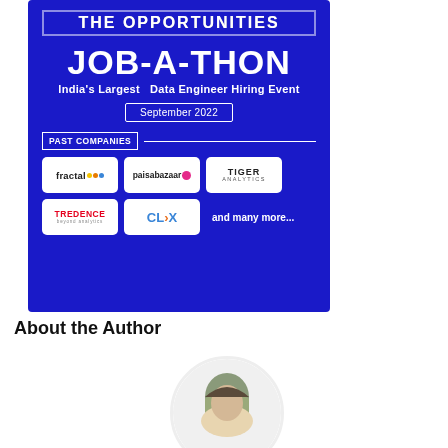[Figure (infographic): Dark blue banner for JOB-A-THON, India's Largest Data Engineer Hiring Event, September 2022, with Past Companies logos: fractal, paisabazaar, Tiger Analytics, TREDENCE, CLIX, and many more]
About the Author
[Figure (photo): Circular profile photo of the author, partially visible showing top of head with dark hair against olive/green background]